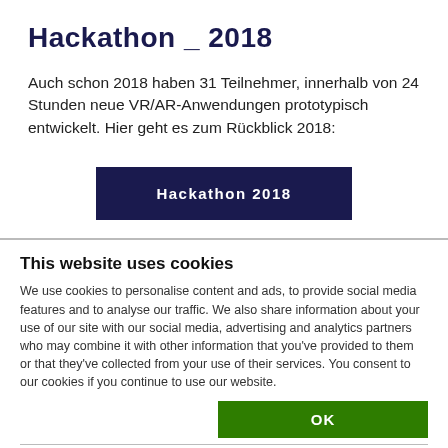Hackathon _ 2018
Auch schon 2018 haben 31 Teilnehmer, innerhalb von 24 Stunden neue VR/AR-Anwendungen prototypisch entwickelt. Hier geht es zum Rückblick 2018:
[Figure (other): Dark navy button labeled 'Hackathon 2018']
This website uses cookies
We use cookies to personalise content and ads, to provide social media features and to analyse our traffic. We also share information about your use of our site with our social media, advertising and analytics partners who may combine it with other information that you've provided to them or that they've collected from your use of their services. You consent to our cookies if you continue to use our website.
[Figure (other): Green OK button]
| ✓ Necessary | ☐ Preferences | ☐ Statistics | Show details ∨ |
| ☐ Marketing |  |  |  |